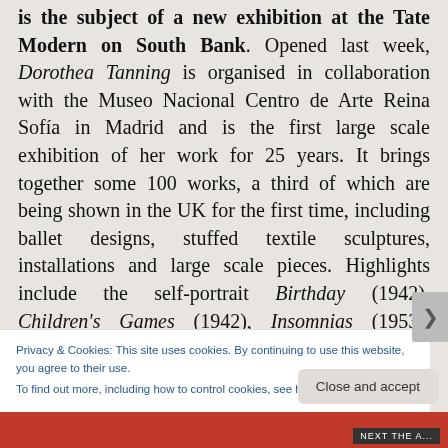is the subject of a new exhibition at the Tate Modern on South Bank. Opened last week, Dorothea Tanning is organised in collaboration with the Museo Nacional Centro de Arte Reina Sofía in Madrid and is the first large scale exhibition of her work for 25 years. It brings together some 100 works, a third of which are being shown in the UK for the first time, including ballet designs, stuffed textile sculptures, installations and large scale pieces. Highlights include the self-portrait Birthday (1942), Children's Games (1942), Insomnias (1953), Etreinte (1969),Tango Lives (1970) and the room-sized installation Chambre 202, Hôtel du Pavot (1970-73). Runs until 9th June. Admission charge
Privacy & Cookies: This site uses cookies. By continuing to use this website, you agree to their use. To find out more, including how to control cookies, see here: Cookie Policy
Close and accept